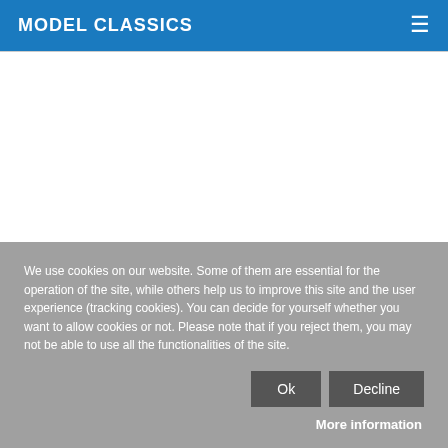MODEL CLASSICS
We use cookies on our website. Some of them are essential for the operation of the site, while others help us to improve this site and the user experience (tracking cookies). You can decide for yourself whether you want to allow cookies or not. Please note that if you reject them, you may not be able to use all the functionalities of the site.
Ok
Decline
More information